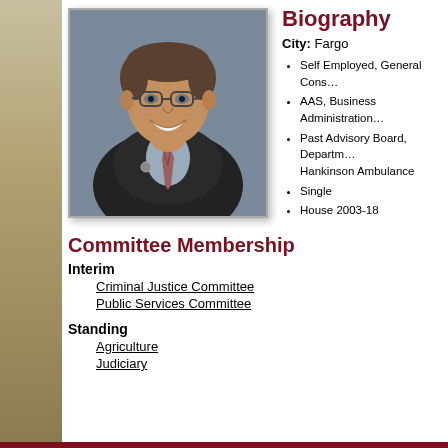[Figure (photo): Portrait photo of a middle-aged man wearing glasses, a dark suit jacket, and a patterned tie, smiling at the camera.]
Biography
City: Fargo
Self Employed, General Cons…
AAS, Business Administration…
Past Advisory Board, Department… Hankinson Ambulance
Single
House 2003-18
Committee Membership
Interim
Criminal Justice Committee
Public Services Committee
Standing
Agriculture
Judiciary